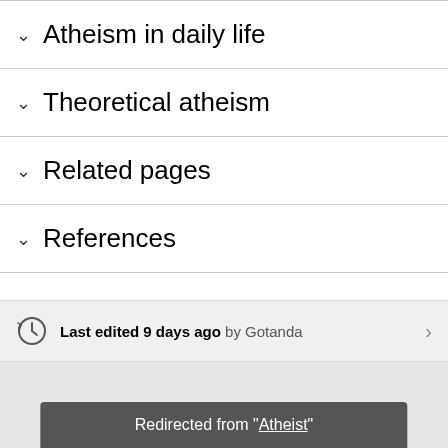Atheism in daily life
Theoretical atheism
Related pages
References
Last edited 9 days ago by Gotanda
Redirected from "Atheist"